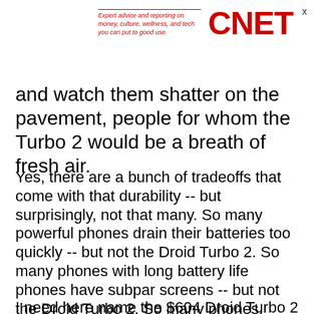Expert advice and reporting on money, culture, wellness, and tech you can put to good use. CNET
and watch them shatter on the pavement, people for whom the Turbo 2 would be a breath of fresh air.
Yes, there are a bunch of tradeoffs that come with that durability -- but surprisingly, not that many. So many powerful phones drain their batteries too quickly -- but not the Droid Turbo 2. So many phones with long battery life phones have subpar screens -- but not the Droid Turbo 2. So many phones, period, are bogged down with unwanted software for no particularly good reason. Not this one.
I need here name the $604 Droid Turbo 2